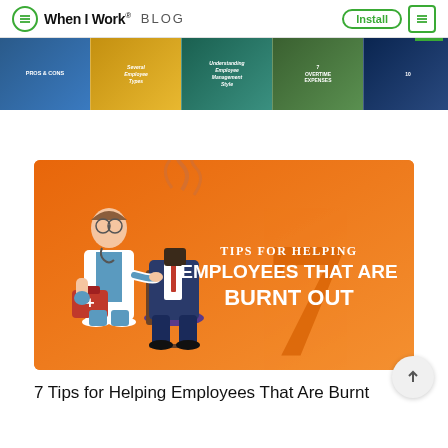When I Work® BLOG | Install | ☰
[Figure (screenshot): Horizontal carousel strip showing multiple blog post thumbnail images with colorful backgrounds]
[Figure (illustration): Orange background illustration: a doctor figure holding a medical kit standing next to a person sitting in an office chair with smoke/flames where their head should be. Large number 7 in background. Text reads: TIPS FOR HELPING EMPLOYEES THAT ARE BURNT OUT]
7 Tips for Helping Employees That Are Burnt